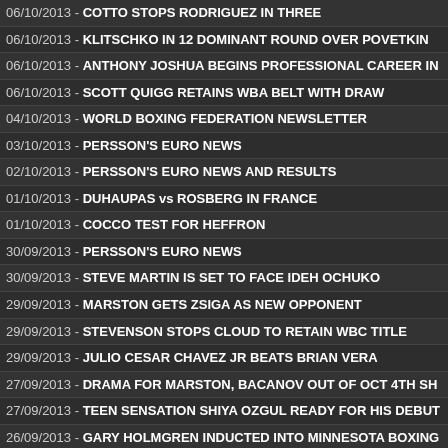06/10/2013 - COTTO STOPS RODRIGUEZ IN THREE
06/10/2013 - KLITSCHKO IN 12 DOMINANT ROUND OVER POVETKIN
06/10/2013 - ANTHONY JOSHUA BEGINS PROFESSIONAL CAREER IN
06/10/2013 - SCOTT QUIGG RETAINS WBA BELT WITH DRAW
04/10/2013 - WORLD BOXING FEDERATION NEWSLETTER
03/10/2013 - PERSSON'S EURO NEWS
02/10/2013 - PERSSON'S EURO NEWS AND RESULTS
01/10/2013 - DUHAUPAS vs ROSBERG IN FRANCE
01/10/2013 - COCCO TEST FOR HEFFRON
30/09/2013 - PERSSON'S EURO NEWS
30/09/2013 - STEVE MARTIN IS SET TO FACE IDEH OCHUKO
29/09/2013 - MARSTON GETS ZSIGA AS NEW OPPONENT
29/09/2013 - STEVENSON STOPS CLOUD TO RETAIN WBC TITLE
29/09/2013 - JULIO CESAR CHAVEZ JR BEATS BRIAN VERA
27/09/2013 - DRAMA FOR MARSTON, BACANOV OUT OF OCT 4TH SH
27/09/2013 - TEEN SENSATION SHIYA OZGUL READY FOR HIS DEBUT
26/09/2013 - GARY HOLMGREN INDUCTED INTO MINNESOTA BOXING
26/09/2013 - WBO 26TH CONGRESS, BUDAPEST 2013
26/09/2013 - MASA BACANOV, I'M COMING TO LONDON TO WIN
25/09/2013 - UP CLOSE AND PERSONAL WITH IAIN WEAVER
24/09/2013 - ANGEL McKENZIE READY FOR RETZKE TEST
23/09/2013 - PERSSON'S EURO NEWS AND RESULTS
23/09/2013 - STEVE MARTIN ARRIVES IN LONDON
22/09/2013 - CHISORA STOPS GERBER TO WIN EUROPEAN TITLE
21/09/2013 - HAYE vs FURY FIGHT POSTPONED DUE TO HAYE CUT E
21/09/2013 - DERECK CHISORA WANTS TO SMASH EDMUND GERBE
19/09/2013 - UP CLOSE AND PERSONAL WITH ANTONIO COUNIN